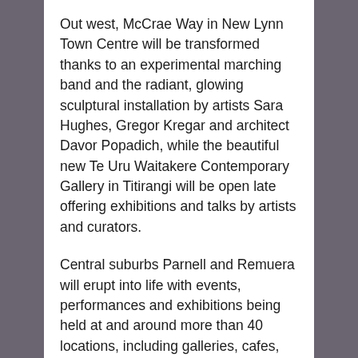Out west, McCrae Way in New Lynn Town Centre will be transformed thanks to an experimental marching band and the radiant, glowing sculptural installation by artists Sara Hughes, Gregor Kregar and architect Davor Popadich, while the beautiful new Te Uru Waitakere Contemporary Gallery in Titirangi will be open late offering exhibitions and talks by artists and curators.
Central suburbs Parnell and Remuera will erupt into life with events, performances and exhibitions being held at and around more than 40 locations, including galleries, cafes, libraries, shops and the footpaths that connect them. The North Shore won't miss out either, with exciting events being held in both Northcote and Devonport!
Visit www.aucklandfestival.co.nz for a full list of venues, times and to make full use of the new